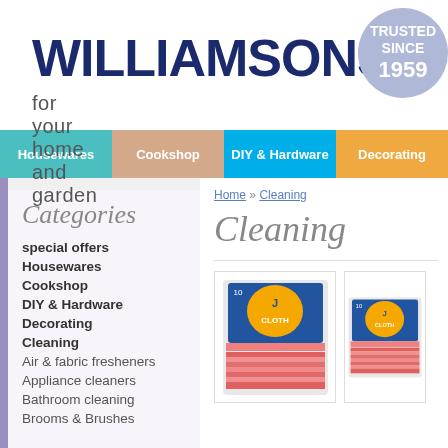WILLIAMSONS for your home and garden
[Figure (logo): Circular badge reading TRUSTED SINCE 1959 in white text on lavender background]
Housewares | Cookshop | DIY & Hardware | Decorating
Home » Cleaning
Cleaning
Categories
special offers
Housewares
Cookshop
DIY & Hardware
Decorating
Cleaning
Air & fabric fresheners
Appliance cleaners
Bathroom cleaning
Brooms & Brushes
[Figure (photo): Pack of pink J Cloth cleaning cloths in blue packaging]
[Figure (photo): Pack of pink J Cloth cleaning cloths in blue packaging (partial)]